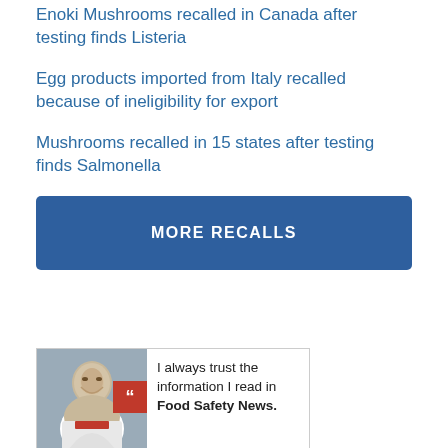Enoki Mushrooms recalled in Canada after testing finds Listeria
Egg products imported from Italy recalled because of ineligibility for export
Mushrooms recalled in 15 states after testing finds Salmonella
MORE RECALLS
[Figure (photo): Woman in white chef coat smiling, with red quote badge overlay and testimonial text: I always trust the information I read in Food Safety News.]